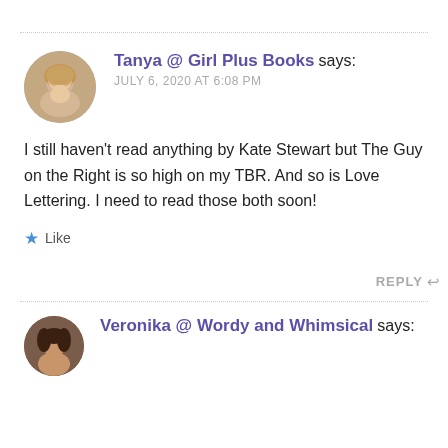Tanya @ Girl Plus Books says: JULY 6, 2020 AT 6:08 PM
I still haven't read anything by Kate Stewart but The Guy on the Right is so high on my TBR. And so is Love Lettering. I need to read those both soon!
Like
REPLY
Veronika @ Wordy and Whimsical says: